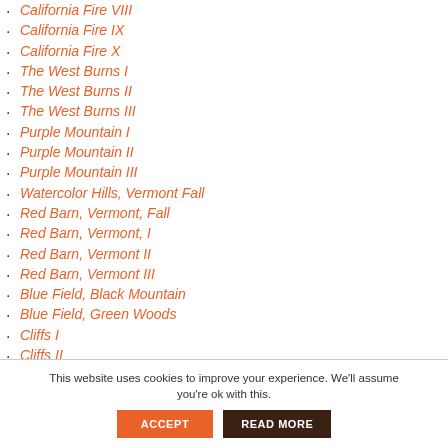California Fire VIII
California Fire IX
California Fire X
The West Burns I
The West Burns II
The West Burns III
Purple Mountain I
Purple Mountain II
Purple Mountain III
Watercolor Hills, Vermont Fall
Red Barn, Vermont, Fall
Red Barn, Vermont, I
Red Barn, Vermont II
Red Barn, Vermont III
Blue Field, Black Mountain
Blue Field, Green Woods
Cliffs I
Cliffs II
This website uses cookies to improve your experience. We'll assume you're ok with this.